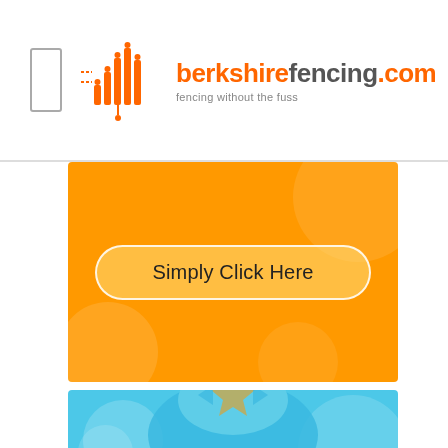[Figure (logo): berkshirefencing.com logo with orange bar chart icon and tagline 'fencing without the fuss']
[Figure (screenshot): Orange banner with rounded button reading 'Simply Click Here' and decorative circles]
[Figure (illustration): Blue customer service representative illustration with headset and star badge on blue background with decorative circles]